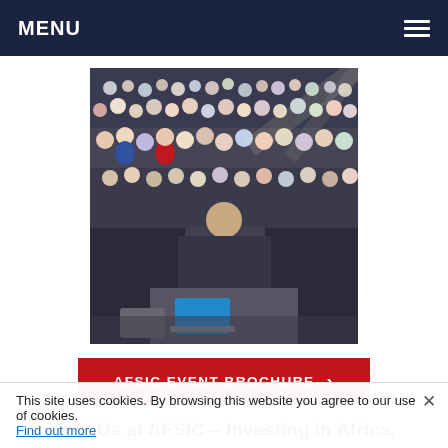MENU
[Figure (photo): A speaker standing at a podium facing a large audience in a conference hall, viewed from behind.]
AFSIC EVENT BROCHURE ›
Join Us at AFSIC – Investing in Africa, Africa's Investment Event
Our entire focus is connecting businesses and investors in Africa so that we can give investments...
This site uses cookies. By browsing this website you agree to our use of cookies. Find out more